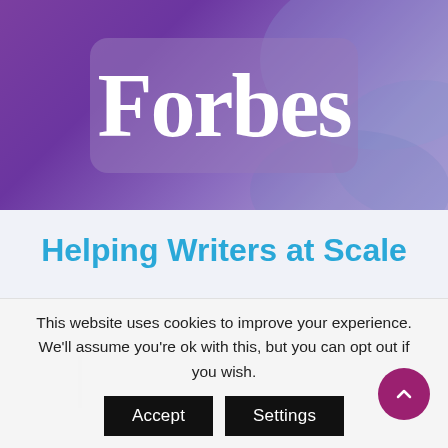[Figure (logo): Forbes logo in white serif bold text on a semi-transparent rounded rectangle, set against a purple gradient background with decorative swirl elements]
Helping Writers at Scale
This website uses cookies to improve your experience. We'll assume you're ok with this, but you can opt out if you wish.
Accept  Settings